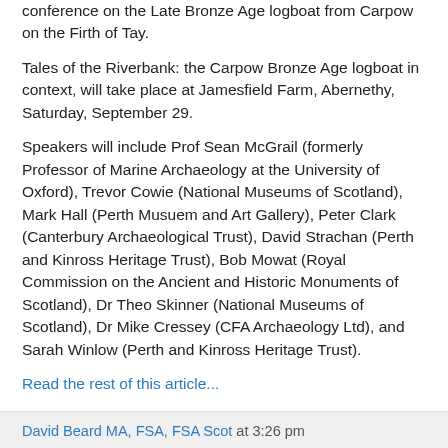conference on the Late Bronze Age logboat from Carpow on the Firth of Tay.
Tales of the Riverbank: the Carpow Bronze Age logboat in context, will take place at Jamesfield Farm, Abernethy, Saturday, September 29.
Speakers will include Prof Sean McGrail (formerly Professor of Marine Archaeology at the University of Oxford), Trevor Cowie (National Museums of Scotland), Mark Hall (Perth Musuem and Art Gallery), Peter Clark (Canterbury Archaeological Trust), David Strachan (Perth and Kinross Heritage Trust), Bob Mowat (Royal Commission on the Ancient and Historic Monuments of Scotland), Dr Theo Skinner (National Museums of Scotland), Dr Mike Cressey (CFA Archaeology Ltd), and Sarah Winlow (Perth and Kinross Heritage Trust).
Read the rest of this article...
David Beard MA, FSA, FSA Scot at 3:26 pm